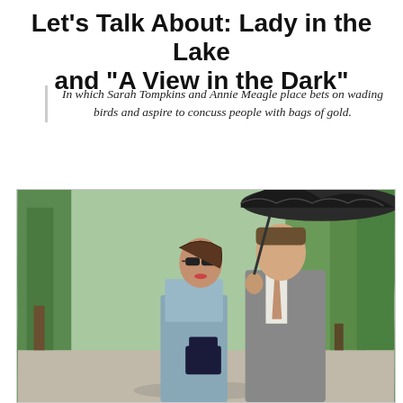Let's Talk About: Lady in the Lake and “A View in the Dark”
In which Sarah Tompkins and Annie Meagle place bets on wading birds and aspire to concuss people with bags of gold.
[Figure (photo): A woman in a blue dress with sunglasses and a man in a grey suit standing together under a black umbrella outdoors, with green trees in the background. Period-style clothing suggesting a mid-20th century setting.]